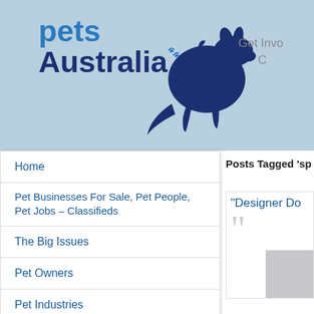pets Australia
Get Invo...
Home
Pet Businesses For Sale, Pet People, Pet Jobs – Classifieds
The Big Issues
Pet Owners
Pet Industries
Pet EVENTS, Pet Education & Pet Industry Information
Members Area
Posts Tagged 'sp
"Designer Do
[Figure (other): Gray placeholder image box, partially visible]